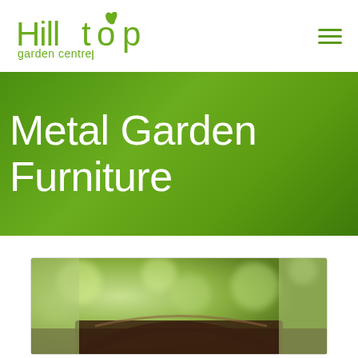[Figure (logo): Hilltop garden centre logo in green with leaf icon on the 'o']
[Figure (other): Hamburger menu icon (three horizontal lines) in green, top right corner]
Metal Garden Furniture
[Figure (photo): Partial photo of metal garden furniture with blurred green bokeh background]